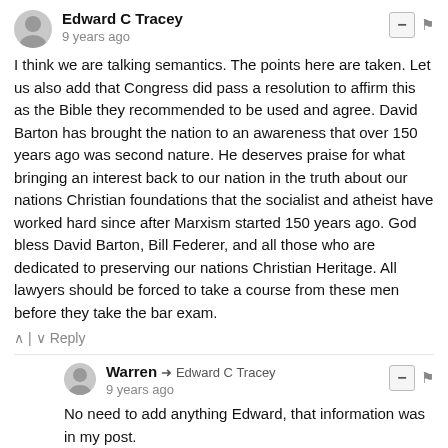Edward C Tracey — 9 years ago
I think we are talking semantics. The points here are taken. Let us also add that Congress did pass a resolution to affirm this as the Bible they recommended to be used and agree. David Barton has brought the nation to an awareness that over 150 years ago was second nature. He deserves praise for what bringing an interest back to our nation in the truth about our nations Christian foundations that the socialist and atheist have worked hard since after Marxism started 150 years ago. God bless David Barton, Bill Federer, and all those who are dedicated to preserving our nations Christian Heritage. All lawyers should be forced to take a course from these men before they take the bar exam.
Reply
Warren → Edward C Tracey — 9 years ago
No need to add anything Edward, that information was in my post.
Lawyers already know how to stretch the truth into something unrecognizable, they need no further help from Mr. Barton.
Reply